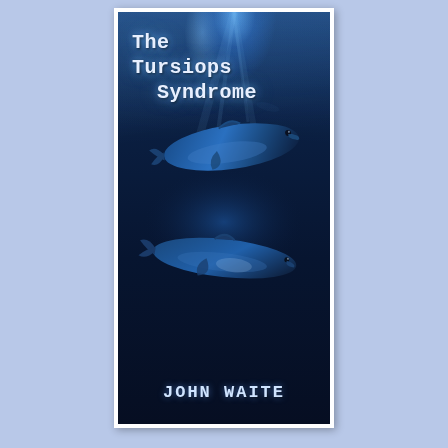[Figure (illustration): Book cover for 'The Tursiops Syndrome' by John Waite. Dark underwater ocean scene with blue light rays filtering from above. Two dolphins swimming in the deep blue water. Title text in white/light serif typewriter font at top left. Author name 'JOHN WAITE' in white typewriter-style capitals at the bottom center. The cover is set against a light blue background with a white border/shadow.]